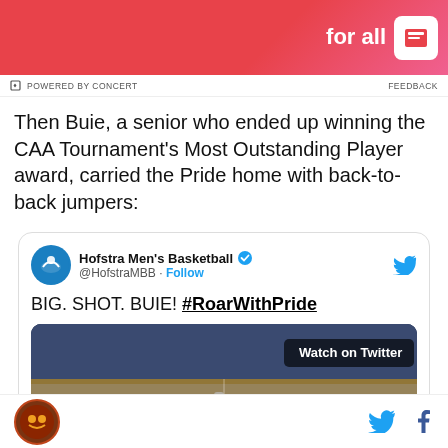[Figure (photo): Pink/red advertisement banner with colorful figure on left and 'for all' text on right with white icon]
POWERED BY CONCERT   FEEDBACK
Then Buie, a senior who ended up winning the CAA Tournament's Most Outstanding Player award, carried the Pride home with back-to-back jumpers:
[Figure (screenshot): Embedded tweet from Hofstra Men's Basketball @HofstraMBB saying 'BIG. SHOT. BUIE! #RoarWithPride' with a Watch on Twitter basketball game video thumbnail]
Footer bar with circular logo and social media icons (Twitter, Facebook)